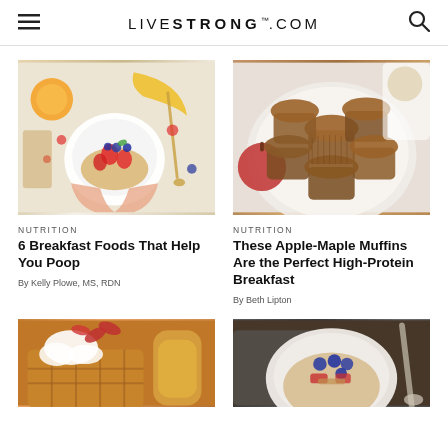LIVESTRONG.COM
[Figure (photo): Overhead view of hands holding a white bowl with granola, strawberries, blueberries, with a banana, orange, and berries scattered around on a white wood surface]
NUTRITION
6 Breakfast Foods That Help You Poop
By Kelly Plowe, MS, RDN
[Figure (photo): Overhead view of a white plate with multiple bran muffins and a red apple beside it on a white background]
NUTRITION
These Apple-Maple Muffins Are the Perfect High-Protein Breakfast
By Beth Lipton
[Figure (photo): Close-up of waffles with whipped cream and red flower petals, with a honey jar visible in the background]
[Figure (photo): Overhead view of a white bowl with oatmeal topped with blueberries, strawberries and other toppings on a dark wooden surface with a spoon]